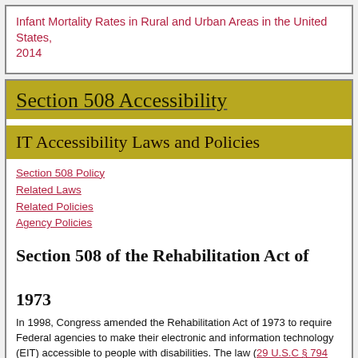Infant Mortality Rates in Rural and Urban Areas in the United States, 2014
Section 508 Accessibility
IT Accessibility Laws and Policies
Section 508 Policy
Related Laws
Related Policies
Agency Policies
Section 508 of the Rehabilitation Act of 1973
In 1998, Congress amended the Rehabilitation Act of 1973 to require Federal agencies to make their electronic and information technology (EIT) accessible to people with disabilities. The law (29 U.S.C § 794 (d)) applies to all Federal agencies when they develop, procure, maintain, or use electronic and information technology. Under Section 508, agencies must give disabled employees and members of the public access to information comparable